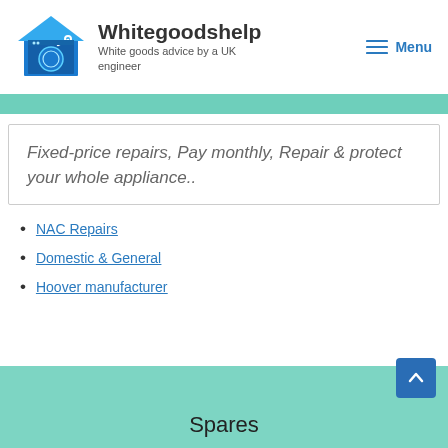Whitegoodshelp – White goods advice by a UK engineer | Menu
[Figure (logo): Whitegoodshelp logo: blue house icon with washing machine and wrench]
Fixed-price repairs, Pay monthly, Repair & protect your whole appliance..
NAC Repairs
Domestic & General
Hoover manufacturer
Spares